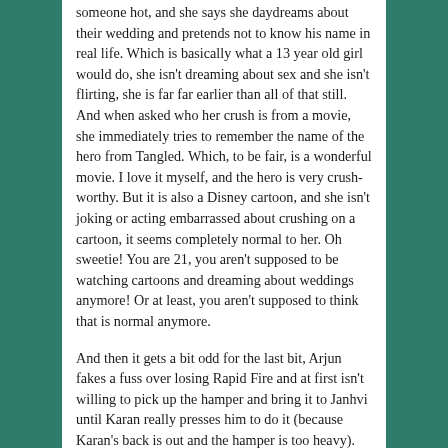someone hot, and she says she daydreams about their wedding and pretends not to know his name in real life. Which is basically what a 13 year old girl would do, she isn't dreaming about sex and she isn't flirting, she is far far earlier than all of that still. And when asked who her crush is from a movie, she immediately tries to remember the name of the hero from Tangled. Which, to be fair, is a wonderful movie. I love it myself, and the hero is very crush-worthy. But it is also a Disney cartoon, and she isn't joking or acting embarrassed about crushing on a cartoon, it seems completely normal to her. Oh sweetie! You are 21, you aren't supposed to be watching cartoons and dreaming about weddings anymore! Or at least, you aren't supposed to think that is normal anymore.
And then it gets a bit odd for the last bit, Arjun fakes a fuss over losing Rapid Fire and at first isn't willing to pick up the hamper and bring it to Janhvi until Karan really presses him to do it (because Karan's back is out and the hamper is too heavy). And then they